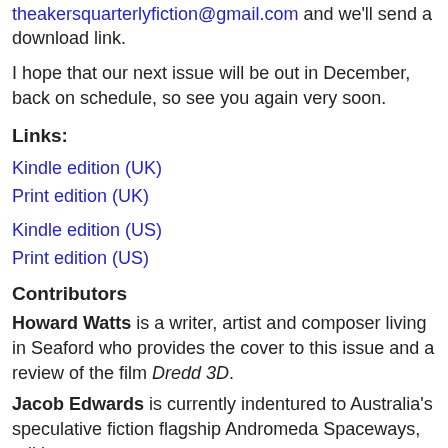theakersquarterlyfiction@gmail.com and we'll send a download link.
I hope that our next issue will be out in December, back on schedule, so see you again very soon.
Links:
Kindle edition (UK)
Print edition (UK)
Kindle edition (US)
Print edition (US)
Contributors
Howard Watts is a writer, artist and composer living in Seaford who provides the cover to this issue and a review of the film Dredd 3D.
Jacob Edwards is currently indentured to Australia's speculative fiction flagship Andromeda Spaceways, editing